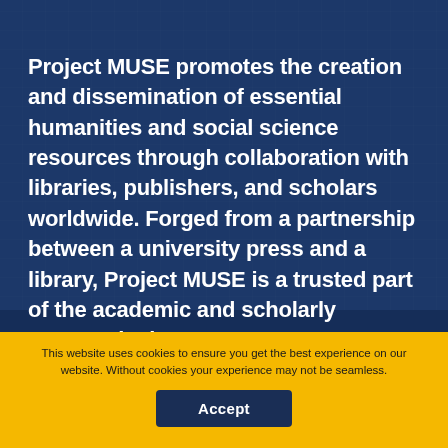Project MUSE promotes the creation and dissemination of essential humanities and social science resources through collaboration with libraries, publishers, and scholars worldwide. Forged from a partnership between a university press and a library, Project MUSE is a trusted part of the academic and scholarly community it serves.
ABOUT
MUSE Story
Publishers
This website uses cookies to ensure you get the best experience on our website. Without cookies your experience may not be seamless.